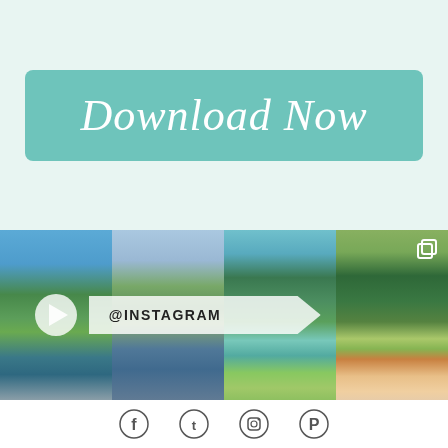[Figure (infographic): Download Now button with teal/mint background and white italic cursive text on light teal outer background]
[Figure (photo): Four-panel Instagram photo strip showing mountain lake scenes in British Columbia/Whistler area. First panel: mountain lake with play button overlay. Second and third panels: mountain landscapes with @INSTAGRAM arrow overlay. Fourth panel: couple selfie by mountain lake with multi-photo icon.]
[Figure (infographic): Social media icons bar: Facebook, Twitter, Instagram, Pinterest icons in a row at the bottom]